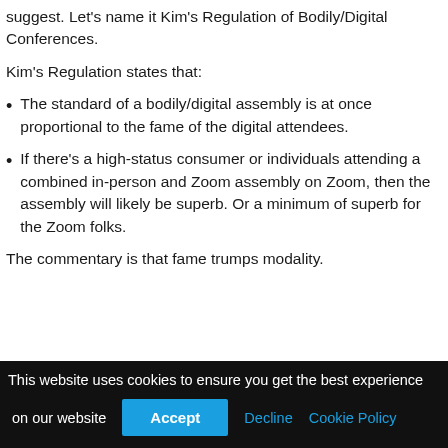suggest. Let’s name it Kim’s Regulation of Bodily/Digital Conferences.
Kim’s Regulation states that:
The standard of a bodily/digital assembly is at once proportional to the fame of the digital attendees.
If there’s a high-status consumer or individuals attending a combined in-person and Zoom assembly on Zoom, then the assembly will likely be superb. Or a minimum of superb for the Zoom folks.
The commentary is that fame trumps modality.
This website uses cookies to ensure you get the best experience on our website  Accept  Decline  Cookie Policy